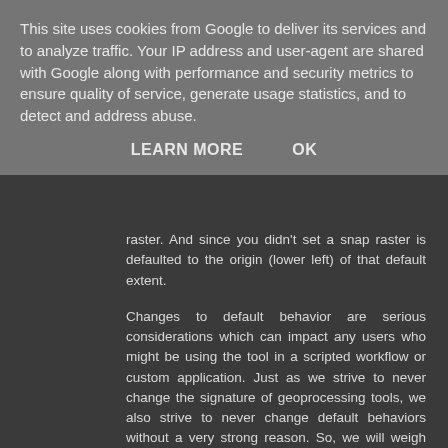This site uses cookies from Google to deliver its services and to analyze traffic. Your IP address and user-agent are shared with Google along with performance and security metrics to ensure quality of service, generate usage statistics, and to detect and address abuse.
LEARN MORE    OK
raster. And since you didn't set a snap raster is defaulted to the origin (lower left) of that default extent.
Changes to default behavior are serious considerations which can impact any users who might be using the tool in a scripted workflow or custom application. Just as we strive to never change the signature of geoprocessing tools, we also strive to never change default behaviors without a very strong reason. So, we will weigh the benefit of making it easier to get the correct answer, against the potential impact on existing users of the tool.